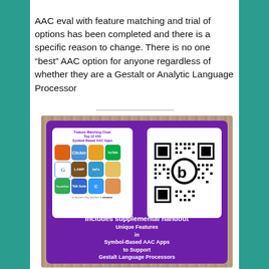AAC eval with feature matching and trial of options has been completed and there is a specific reason to change. There is no one “best” AAC option for anyone regardless of whether they are a Gestalt or Analytic Language Processor
[Figure (infographic): Purple promotional card on a wood-textured background. Contains a 'Feature Matching Chart Top 12 iOS Symbol-Based AAC Apps' image with a grid of app icons, a QR code (bitly link), text 'Includes supplemental handout', and 'Unique Features in Symbol-Based AAC Apps to Support Gestalt Language Processors'.]